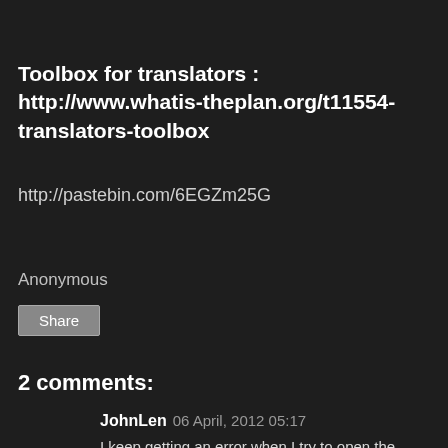Toolbox for translators : http://www.whatis-theplan.org/t11554-translators-toolbox
http://pastebin.com/6EGZm25G
Anonymous
Share
2 comments:
JohnLen  06 April, 2012 05:17
I keep getting an error when I try to open the tunnel: bind: Address already in use
channel setup fwd listener: cannot listen to port: